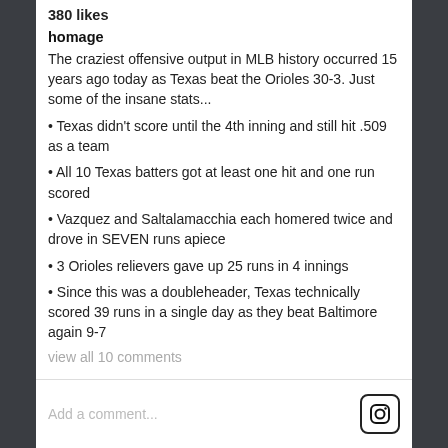380 likes
homage
The craziest offensive output in MLB history occurred 15 years ago today as Texas beat the Orioles 30-3. Just some of the insane stats...
• Texas didn't score until the 4th inning and still hit .509 as a team
• All 10 Texas batters got at least one hit and one run scored
• Vazquez and Saltalamacchia each homered twice and drove in SEVEN runs apiece
• 3 Orioles relievers gave up 25 runs in 4 innings
• Since this was a doubleheader, Texas technically scored 39 runs in a single day as they beat Baltimore again 9-7
view all 10 comments
Add a comment...